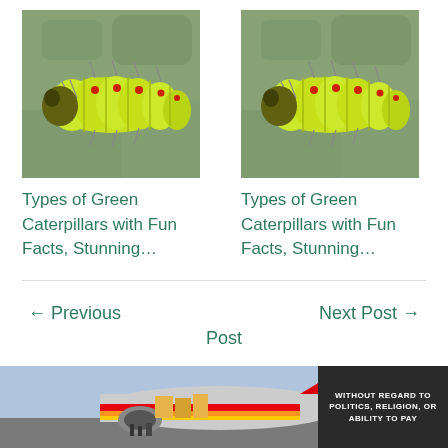[Figure (photo): Close-up photo of a bright green caterpillar with red dots and spiny hairs on a leaf surface]
[Figure (photo): Close-up photo of a bright green caterpillar with red dots and spiny hairs on a leaf surface, similar to the left image]
Types of Green Caterpillars with Fun Facts, Stunning…
Types of Green Caterpillars with Fun Facts, Stunning…
← Previous
Next Post →
Post
[Figure (photo): Photo of cargo being loaded onto a Southwest Airlines aircraft on an airport tarmac]
[Figure (other): Dark banner with text: WITHOUT REGARD TO POLITICS, RELIGION, OR ABILITY TO PAY]